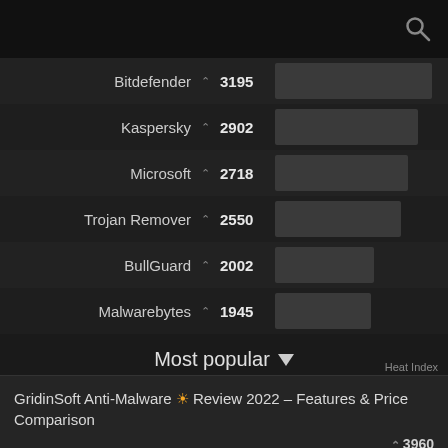[Figure (other): Search icon in top-right corner of dark header bar]
| Name |  | Score | Bar |
| --- | --- | --- | --- |
| Bitdefender | ▲ | 3195 |  |
| Kaspersky | ▲ | 2902 |  |
| Microsoft | ▲ | 2718 |  |
| Trojan Remover | ▲ | 2550 |  |
| BullGuard | ▲ | 2002 |  |
| Malwarebytes | ▲ | 1945 |  |
Most popular ▼
Heat Index
GridinSoft Anti-Malware ☀ Review 2022 – Features & Price Comparison ▲ 3960
Loaris Trojan Remover Review 2022. How good is Loaris? ▲ 2553
BullGuard Antivirus Review 2022 – Is the Free Version Enough?